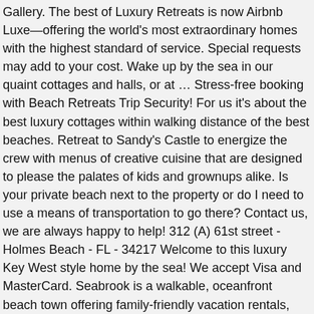Gallery. The best of Luxury Retreats is now Airbnb Luxe—offering the world's most extraordinary homes with the highest standard of service. Special requests may add to your cost. Wake up by the sea in our quaint cottages and halls, or at … Stress-free booking with Beach Retreats Trip Security! For us it's about the best luxury cottages within walking distance of the best beaches. Retreat to Sandy's Castle to energize the crew with menus of creative cuisine that are designed to please the palates of kids and grownups alike. Is your private beach next to the property or do I need to use a means of transportation to go there? Contact us, we are always happy to help! 312 (A) 61st street - Holmes Beach - FL - 34217 Welcome to this luxury Key West style home by the sea! We accept Visa and MasterCard. Seabrook is a walkable, oceanfront beach town offering family-friendly vacation rentals, many allow pets. Sitemap and Links. Fresh air, a calming ocean breeze and the s Cannon Beach Retreat house: View from the deck: Multi family. They can be downright healing. RESERVATIONS MUST BE UNDER 180